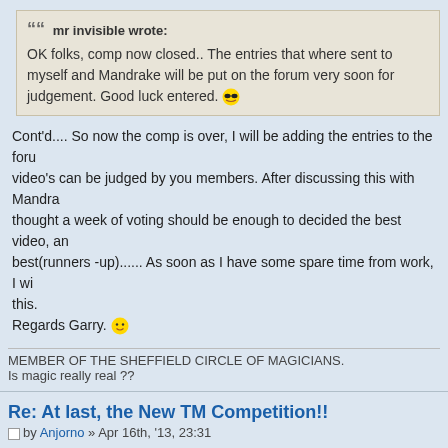mr invisible wrote: OK folks, comp now closed.. The entries that where sent to myself and Mandrake will be put on the forum very soon for judgement. Good luck entered.
Cont'd.... So now the comp is over, I will be adding the entries to the forum so the video's can be judged by you members. After discussing this with Mandrake, we thought a week of voting should be enough to decided the best video, and the best(runners -up)...... As soon as I have some spare time from work, I will sort this.
Regards Garry.
MEMBER OF THE SHEFFIELD CIRCLE OF MAGICIANS.
Is magic really real ??
Re: At last, the New TM Competition!!
by Anjorno » Apr 16th, '13, 23:31
mr invisible wrote: mr invisible wrote: OK folks, comp now closed.. The entries that where sent to myself and Mandrake will be put on the forum very soon for judgement. Good l